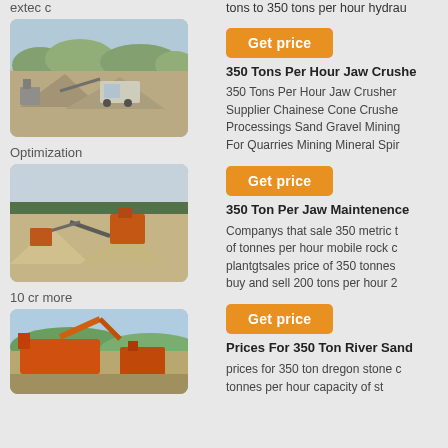tons to 350 tons per hour hydrau
extec c
[Figure (photo): Outdoor mining/crushing site with trucks, machinery, and gravel piles.]
Optimization
[Figure (photo): Open-air crushing plant with conveyor belts and sand/gravel piles.]
10 cr more
[Figure (photo): Orange/red colored crushing and screening plant with conveyor belts.]
tons to 350 tons per hour hydrau
Get price
350 Tons Per Hour Jaw Crushe
350 Tons Per Hour Jaw Crusher Supplier Chainese Cone Crushe Processings Sand Gravel Mining For Quarries Mining Mineral Spir
Get price
350 Ton Per Jaw Maintenence
Companys that sale 350 metric t of tonnes per hour mobile rock c plantgtsales price of 350 tonnes buy and sell 200 tons per hour 2
Get price
Prices For 350 Ton River Sand
prices for 350 ton dregon stone c tonnes per hour capacity of st